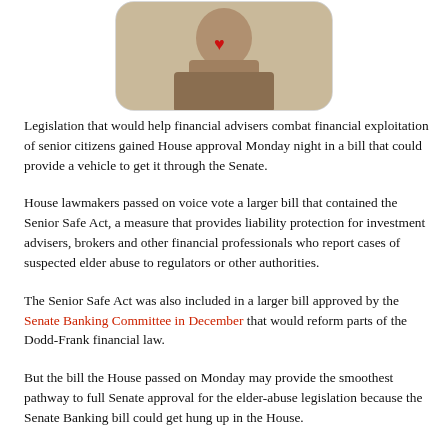[Figure (photo): A sepia-toned photograph of a person, partially visible, shown inside a rounded rectangular frame with a small red heart icon overlay.]
Legislation that would help financial advisers combat financial exploitation of senior citizens gained House approval Monday night in a bill that could provide a vehicle to get it through the Senate.
House lawmakers passed on voice vote a larger bill that contained the Senior Safe Act, a measure that provides liability protection for investment advisers, brokers and other financial professionals who report cases of suspected elder abuse to regulators or other authorities.
The Senior Safe Act was also included in a larger bill approved by the Senate Banking Committee in December that would reform parts of the Dodd-Frank financial law.
But the bill the House passed on Monday may provide the smoothest pathway to full Senate approval for the elder-abuse legislation because the Senate Banking bill could get hung up in the House.